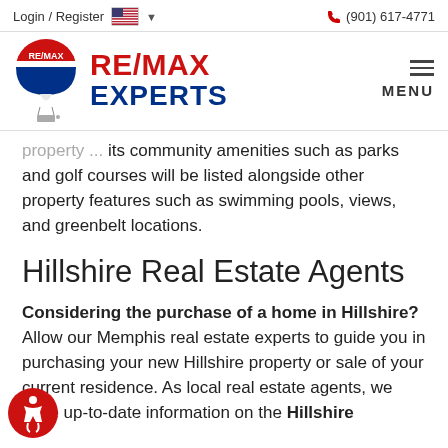Login / Register | (901) 617-4771
[Figure (logo): RE/MAX Experts logo with hot air balloon icon and bold red/blue text]
property ... its community amenities such as parks and golf courses will be listed alongside other property features such as swimming pools, views, and greenbelt locations.
Hillshire Real Estate Agents
Considering the purchase of a home in Hillshire? Allow our Memphis real estate experts to guide you in purchasing your new Hillshire property or sale of your current residence. As local real estate agents, we have up-to-date information on the Hillshire